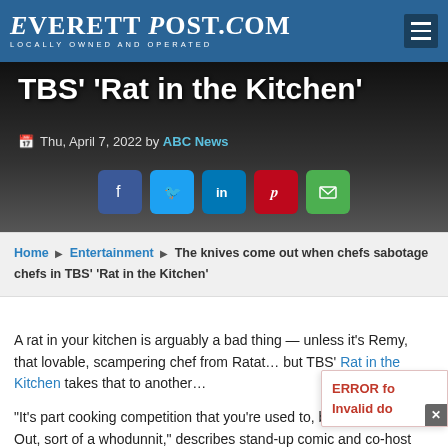EVERETT POST.COM — LOCALLY OWNED AND OPERATED
[Figure (photo): Dark hero image background with TBS 'Rat in the Kitchen' show title text and date/author overlay and social sharing buttons]
Thu, April 7, 2022 by ABC News
Home ▶ Entertainment ▶ The knives come out when chefs sabotage chefs in TBS' 'Rat in the Kitchen'
A rat in your kitchen is arguably a bad thing — unless it's Remy, that lovable, scampering chef from Ratat… but TBS' Rat in the Kitchen takes that to another…
"It's part cooking competition that you're used to, but then Knives Out, sort of a whodunnit," describes stand-up comic and co-host Natasha Leggero.